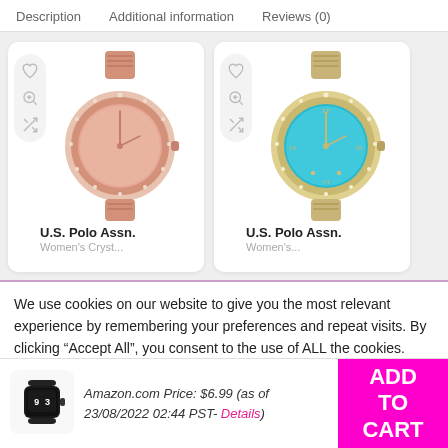Description   Additional information   Reviews (0)
[Figure (photo): Rose gold women's watch by U.S. Polo Assn. with crystal-studded bezel and rose gold bracelet]
U.S. Polo Assn.
[Figure (photo): Gold women's watch by U.S. Polo Assn. with teal/turquoise dial and crystal-studded bezel]
U.S. Polo Assn.
We use cookies on our website to give you the most relevant experience by remembering your preferences and repeat visits. By clicking “Accept All”, you consent to the use of ALL the cookies. However, you may visit
[Figure (photo): Small black smartwatch thumbnail in bottom bar]
Amazon.com Price: $6.99 (as of 23/08/2022 02:44 PST- Details)
ADD TO CART